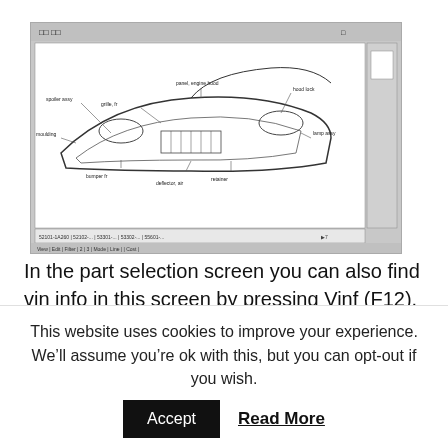[Figure (screenshot): A screenshot of a parts catalog software showing an exploded diagram of a car front bumper/body assembly with part callouts and labels, typical of a Toyota EPC (Electronic Parts Catalog) interface.]
In the part selection screen you can also find vin info in this screen by pressing Vinf (F12). This is not really of any importance for us except that the JDM info is wrong: it says that both the Sprinter Trueno and Corolla Levin feature a 4AGEU 16-Turbo. This is incorrect and if you compare it with the EU cds you will find someone did a bad translation on “valves”
This website uses cookies to improve your experience. We’ll assume you’re ok with this, but you can opt-out if you wish.